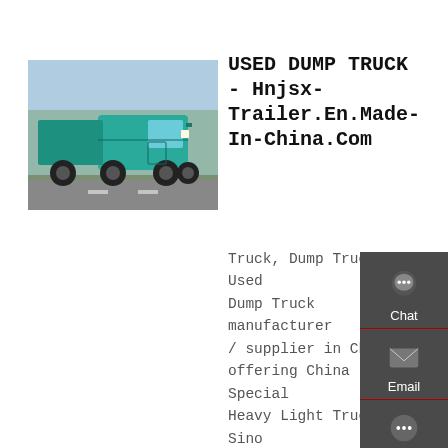[Figure (photo): A teal/green heavy duty dump truck (Sinotruk HOWO) on a road, side-rear view, with trees and street in background.]
USED DUMP TRUCK - Hnjsx-Trailer.En.Made-In-China.Com
Truck, Dump Truck, Used Dump Truck manufacturer / supplier in China, offering China Special Heavy Light Truck Sino Truck Dongfeng Concrete Mixer Truck Factory Supplier, Heavy Duty Axle 15 Cubic Meter Concrete Mixer Truck